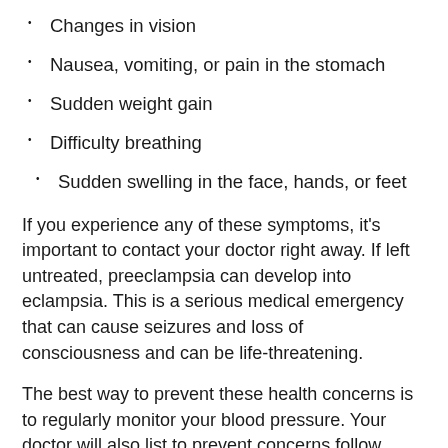Changes in vision
Nausea, vomiting, or pain in the stomach
Sudden weight gain
Difficulty breathing
Sudden swelling in the face, hands, or feet
If you experience any of these symptoms, it's important to contact your doctor right away. If left untreated, preeclampsia can develop into eclampsia. This is a serious medical emergency that can cause seizures and loss of consciousness and can be life-threatening.
The best way to prevent these health concerns is to regularly monitor your blood pressure. Your doctor will also list to prevent concerns follow